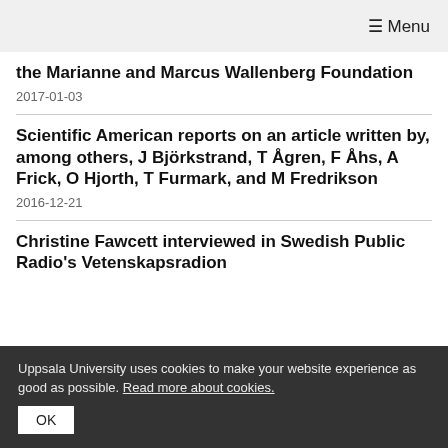☰ Menu
the Marianne and Marcus Wallenberg Foundation
2017-01-03
Scientific American reports on an article written by, among others, J Björkstrand, T Ågren, F Åhs, A Frick, O Hjorth, T Furmark, and M Fredrikson
2016-12-21
Christine Fawcett interviewed in Swedish Public Radio's Vetenskapsradion
Uppsala University uses cookies to make your website experience as good as possible. Read more about cookies.